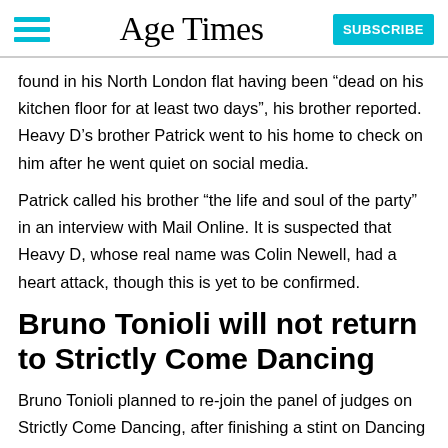Age Times
found in his North London flat having been “dead on his kitchen floor for at least two days”, his brother reported. Heavy D’s brother Patrick went to his home to check on him after he went quiet on social media.
Patrick called his brother “the life and soul of the party” in an interview with Mail Online. It is suspected that Heavy D, whose real name was Colin Newell, had a heart attack, though this is yet to be confirmed.
Bruno Tonioli will not return to Strictly Come Dancing
Bruno Tonioli planned to re-join the panel of judges on Strictly Come Dancing, after finishing a stint on Dancing with the Stars